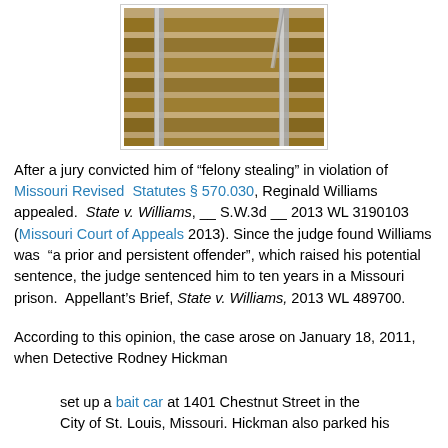[Figure (photo): Photograph of railroad tracks from above, showing wooden ties and steel rails, taken at an angle. A metal pole or cane is visible in the upper right area.]
After a jury convicted him of “felony stealing” in violation of Missouri Revised Statutes § 570.030, Reginald Williams appealed. State v. Williams, __ S.W.3d __ 2013 WL 3190103 (Missouri Court of Appeals 2013). Since the judge found Williams was “a prior and persistent offender”, which raised his potential sentence, the judge sentenced him to ten years in a Missouri prison. Appellant’s Brief, State v. Williams, 2013 WL 489700.
According to this opinion, the case arose on January 18, 2011, when Detective Rodney Hickman
set up a bait car at 1401 Chestnut Street in the City of St. Louis, Missouri. Hickman also parked his